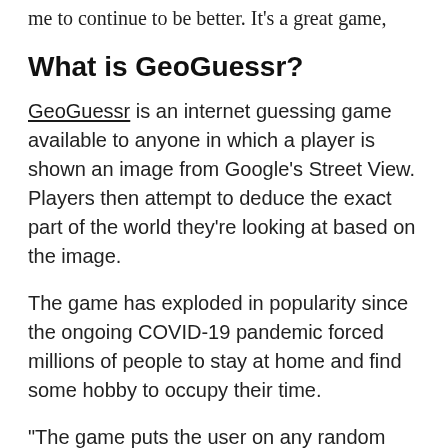me to continue to be better. It's a great game,
What is GeoGuessr?
GeoGuessr is an internet guessing game available to anyone in which a player is shown an image from Google's Street View. Players then attempt to deduce the exact part of the world they're looking at based on the image.
The game has exploded in popularity since the ongoing COVID-19 pandemic forced millions of people to stay at home and find some hobby to occupy their time.
"The game puts the user on any random Google Street View location and the goal is to find where you are in the world," Rainbolt explains. "So you can be put in